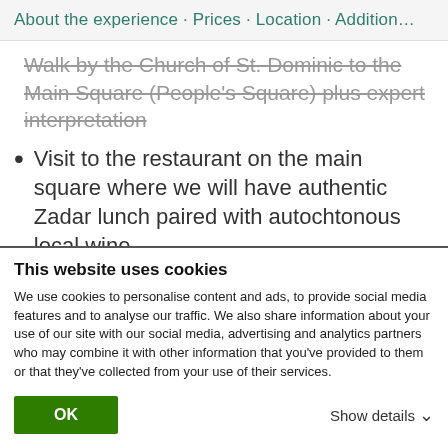About the experience · Prices · Location · Addition…
Walk by the Church of St. Dominic to the Main Square (People's Square) plus expert interpretation
Visit to the restaurant on the main square where we will have authentic Zadar lunch paired with autochtonous local wine
Walk through Kalelarga - Zadar's most important and glorified street
This website uses cookies
We use cookies to personalise content and ads, to provide social media features and to analyse our traffic. We also share information about your use of our site with our social media, advertising and analytics partners who may combine it with other information that you've provided to them or that they've collected from your use of their services.